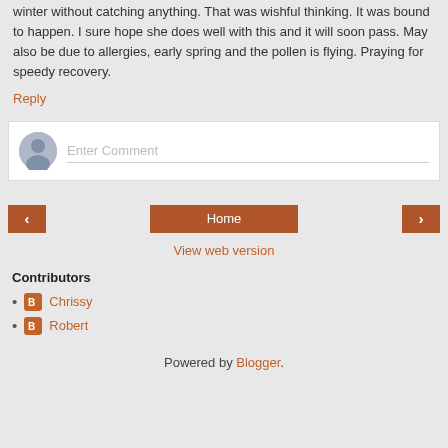winter without catching anything. That was wishful thinking. It was bound to happen. I sure hope she does well with this and it will soon pass. May also be due to allergies, early spring and the pollen is flying. Praying for speedy recovery.
Reply
[Figure (screenshot): Comment entry box with avatar icon and 'Enter Comment' placeholder text]
[Figure (screenshot): Navigation buttons: left arrow, Home, right arrow]
View web version
Contributors
Chrissy
Robert
Powered by Blogger.